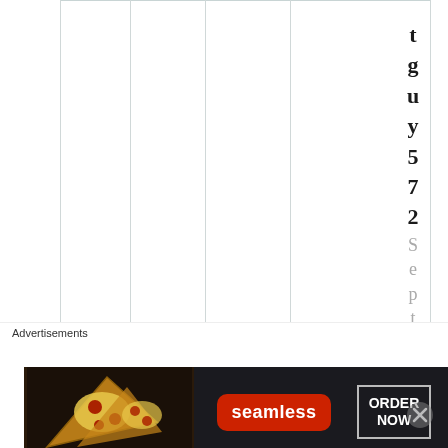[Figure (other): Table grid with vertical column lines, mostly empty, with vertical rotated text on right side reading 't g u y 5 7 2' in bold and 'S e p t e m b ...' in light gray]
Advertisements
[Figure (other): Seamless food delivery advertisement banner showing pizza slices on dark background with Seamless logo and ORDER NOW button]